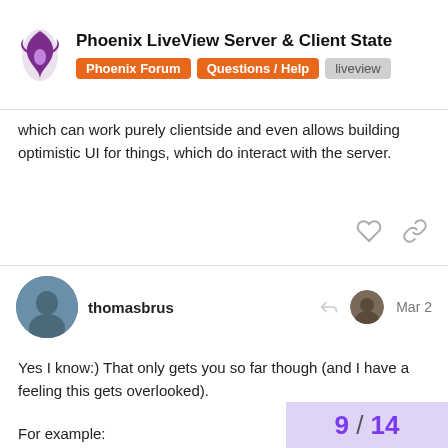Phoenix LiveView Server & Client State | Phoenix Forum | Questions / Help | liveview
which can work purely clientside and even allows building optimistic UI for things, which do interact with the server.
thomasbrus  Mar 2
Yes I know:) That only gets you so far though (and I have a feeling this gets overlooked).
For example:
I may want to open a modal in a portal so that (Headless UI – Unstyled, fully accessible UI components) so that it doesn't interfere with other elements on the page with a z-index.
Or I may want to calculate the placement based on the viewport so it doesn't fa…
9 / 14